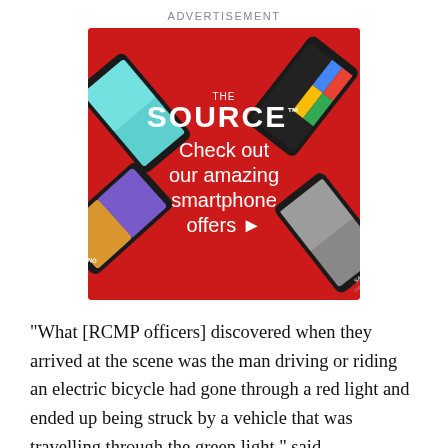ADVERTISEMENT
[Figure (photo): The Source advertisement showing smartphones on a red diamond-shaped background with text: THE SOURCE™ Check out our amazing smartphone offers ▶]
"What [RCMP officers] discovered when they arrived at the scene was the man driving or riding an electric bicycle had gone through a red light and ended up being struck by a vehicle that was travelling through the green light," said